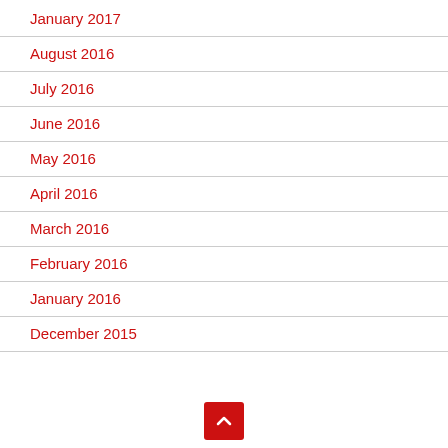January 2017
August 2016
July 2016
June 2016
May 2016
April 2016
March 2016
February 2016
January 2016
December 2015